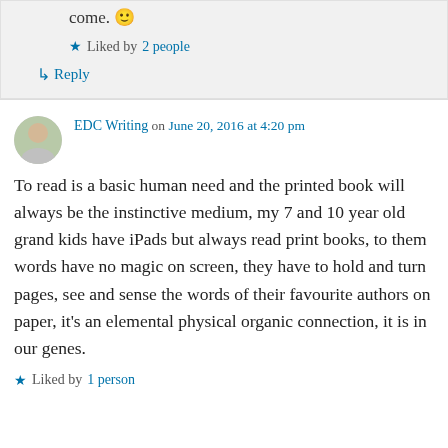come. 🙂
★ Liked by 2 people
↳ Reply
EDC Writing on June 20, 2016 at 4:20 pm
To read is a basic human need and the printed book will always be the instinctive medium, my 7 and 10 year old grand kids have iPads but always read print books, to them words have no magic on screen, they have to hold and turn pages, see and sense the words of their favourite authors on paper, it's an elemental physical organic connection, it is in our genes.
★ Liked by 1 person